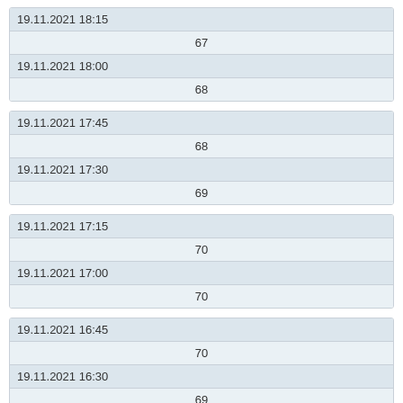| 19.11.2021 18:15 | 67 |
| 19.11.2021 18:00 | 68 |
| 19.11.2021 17:45 | 68 |
| 19.11.2021 17:30 | 69 |
| 19.11.2021 17:15 | 70 |
| 19.11.2021 17:00 | 70 |
| 19.11.2021 16:45 | 70 |
| 19.11.2021 16:30 | 69 |